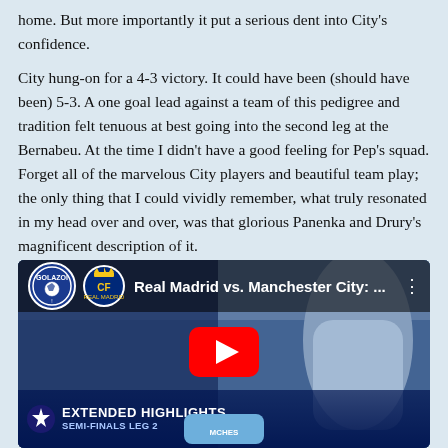home. But more importantly it put a serious dent into City's confidence.
City hung-on for a 4-3 victory. It could have been (should have been) 5-3. A one goal lead against a team of this pedigree and tradition felt tenuous at best going into the second leg at the Bernabeu. At the time I didn't have a good feeling for Pep's squad. Forget all of the marvelous City players and beautiful team play; the only thing that I could vividly remember, what truly resonated in my head over and over, was that glorious Panenka and Drury's magnificent description of it.
[Figure (screenshot): YouTube video thumbnail showing 'Real Madrid vs. Manchester City: ...' with GOLAZOI channel branding, Real Madrid crest, UEFA Champions League Extended Highlights Semi-Finals Leg 2 overlay at bottom, and a player in white Real Madrid jersey (Emirates kit). Red YouTube play button in center.]